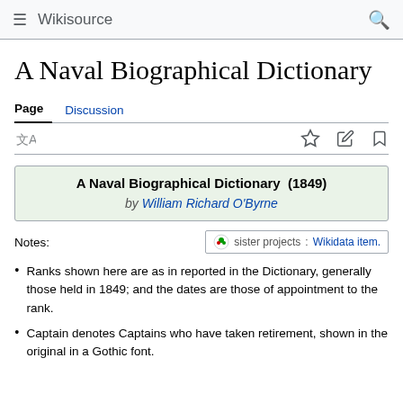Wikisource
A Naval Biographical Dictionary
Page  Discussion
A Naval Biographical Dictionary (1849) by William Richard O'Byrne
Notes: sister projects: Wikidata item.
Ranks shown here are as in reported in the Dictionary, generally those held in 1849; and the dates are those of appointment to the rank.
Captain denotes Captains who have taken retirement, shown in the original in a Gothic font.